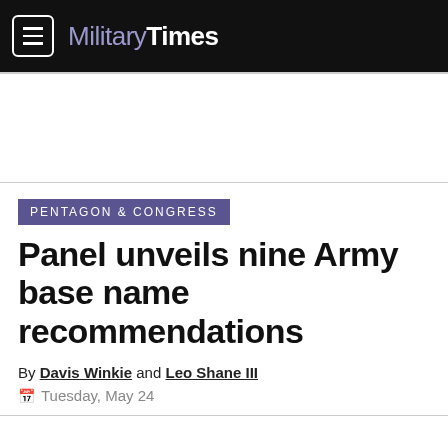Military Times
Pentagon & Congress
Panel unveils nine Army base name recommendations
By Davis Winkie and Leo Shane III
Tuesday, May 24